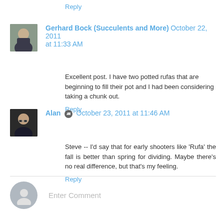Reply
Gerhard Bock (Succulents and More) October 22, 2011 at 11:33 AM
Excellent post. I have two potted rufas that are beginning to fill their pot and I had been considering taking a chunk out.
Reply
Alan October 23, 2011 at 11:46 AM
Steve -- I'd say that for early shooters like 'Rufa' the fall is better than spring for dividing. Maybe there's no real difference, but that's my feeling.
Reply
Enter Comment